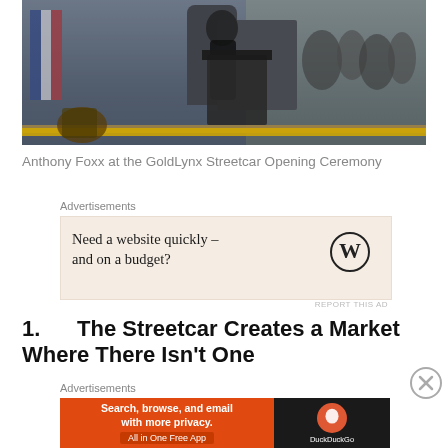[Figure (photo): Anthony Foxx speaking at a podium at the GoldLynx Streetcar Opening Ceremony, with a crowd and American flag visible in the background.]
Anthony Foxx at the GoldLynx Streetcar Opening Ceremony
Advertisements
[Figure (screenshot): Advertisement: 'Need a website quickly – and on a budget?' with WordPress logo]
REPORT THIS AD
1.      The Streetcar Creates a Market Where There Isn't One
Advertisements
[Figure (screenshot): Advertisement: 'Search, browse, and email with more privacy. All in One Free App' with DuckDuckGo logo]